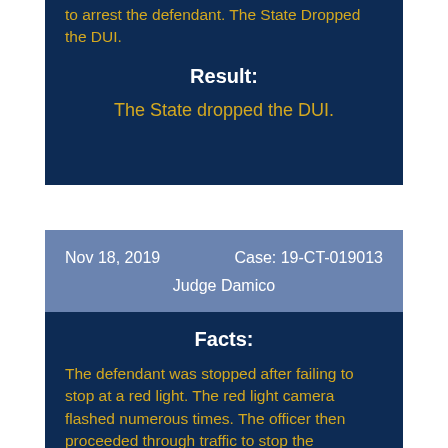to arrest the defendant. The State Dropped the DUI.
Result:
The State dropped the DUI.
Nov 18, 2019        Case: 19-CT-019013
Judge Damico
Facts:
The defendant was stopped after failing to stop at a red light. The red light camera flashed numerous times. The officer then proceeded through traffic to stop the defendant. The officer